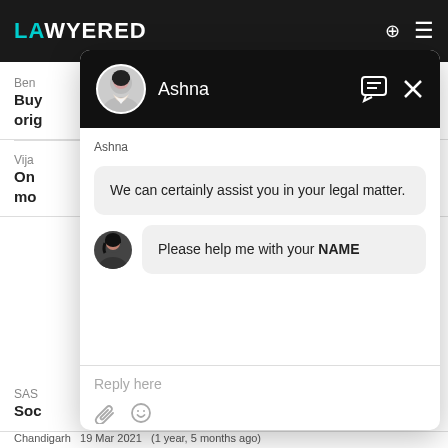[Figure (screenshot): Lawyered website navigation bar with teal and white logo text]
Ben
Buy
orig
Vija
On
mo
d 2
SAS
Soc
[Figure (screenshot): Chat widget popup from Lawyered legal service. Header shows avatar and name 'Ashna' on black background with chat and close icons. Body shows agent message: 'We can certainly assist you in your legal matter.' followed by user avatar with bot message: 'Please help me with your NAME'. Footer shows 'Reply here' placeholder with attachment and emoji icons.]
Chandigarh  19 Mar 2021  (1 year, 5 months ago)